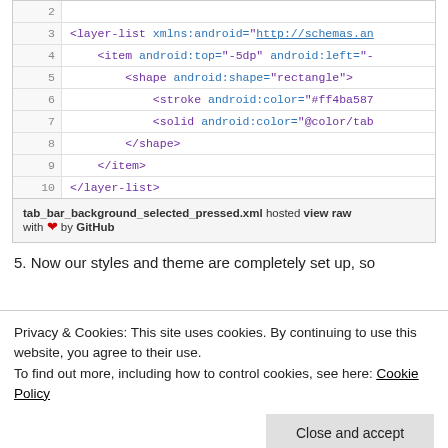[Figure (screenshot): Code block showing XML for tab_bar_background_selected_pressed.xml with line numbers 2-10, displaying layer-list, item, shape, stroke, solid tags]
5. Now our styles and theme are completely set up, so
Privacy & Cookies: This site uses cookies. By continuing to use this website, you agree to their use.
To find out more, including how to control cookies, see here: Cookie Policy
Close and accept
[Figure (screenshot): Code line showing: android:icon="@drawable/ic_launcher"]